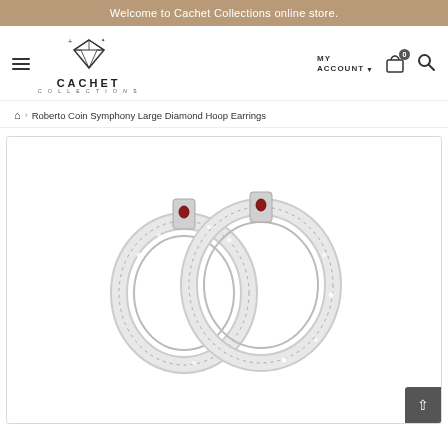Welcome to Cachet Collections online store.
[Figure (logo): Cachet Collections logo with diamond icon]
MY ACCOUNT
0 (cart)
Roberto Coin Symphony Large Diamond Hoop Earrings
[Figure (photo): Large diamond hoop earrings (Roberto Coin Symphony) displayed against white background, showing two silver/white gold hoops encrusted with diamonds, with small ruby accents at the clasp.]